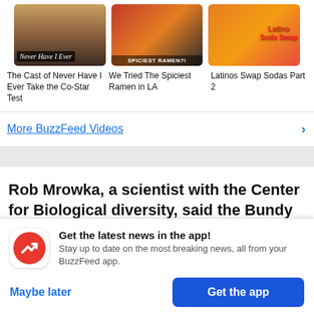[Figure (screenshot): Three BuzzFeed video thumbnails in a row: 'Never Have I Ever', 'Spiciest Ramen', 'Latino Soda Swap']
The Cast of Never Have I Ever Take the Co-Star Test
We Tried The Spiciest Ramen in LA
Latinos Swap Sodas Part 2
More BuzzFeed Videos
Rob Mrowka, a scientist with the Center for Biological diversity, said the Bundy cattle are essentially "feral" roaming at will over hundreds of
[Figure (logo): BuzzFeed app icon - red circle with white trending arrow]
Get the latest news in the app! Stay up to date on the most breaking news, all from your BuzzFeed app.
Maybe later
Get the app